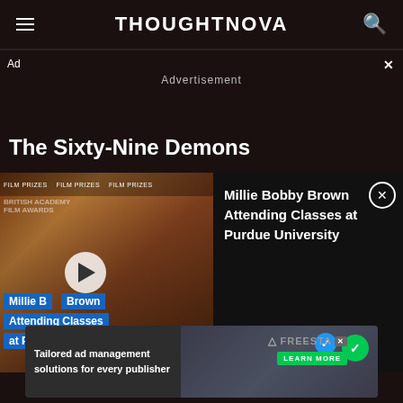THOUGHTNOVA
Ad   ×
Advertisement
The Sixty-Nine Demons
[Figure (screenshot): Video thumbnail showing Millie Bobby Brown with play button overlay and caption bars reading 'Millie Bobby Brown Attending Classes at Purdue University' alongside an info panel on the right with the same text and a close button]
[Figure (screenshot): Bottom advertisement banner: 'Tailored ad management solutions for every publisher' with Freesta branding and Learn More button]